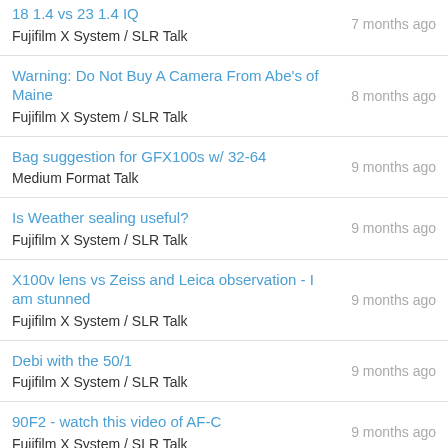18 1.4 vs 23 1.4 IQ | Fujifilm X System / SLR Talk | 7 months ago
Warning: Do Not Buy A Camera From Abe's of Maine | Fujifilm X System / SLR Talk | 8 months ago
Bag suggestion for GFX100s w/ 32-64 | Medium Format Talk | 9 months ago
Is Weather sealing useful? | Fujifilm X System / SLR Talk | 9 months ago
X100v lens vs Zeiss and Leica observation - I am stunned | Fujifilm X System / SLR Talk | 9 months ago
Debi with the 50/1 | Fujifilm X System / SLR Talk | 9 months ago
90F2 - watch this video of AF-C | Fujifilm X System / SLR Talk | 9 months ago
What does this red blinking icon mean? | Fujifilm X System / SLR Talk | 9 months ago
Fuji camera remote, the phone app, suddenly works well? | 9 months ago